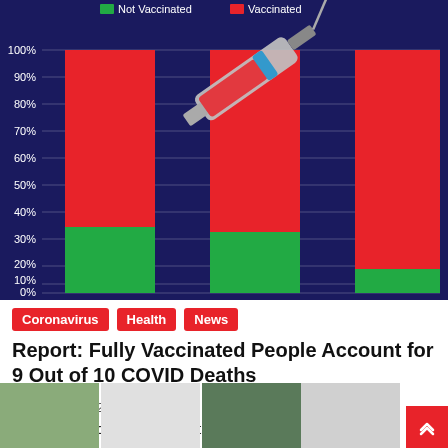[Figure (stacked-bar-chart): Not Vaccinated / Vaccinated]
Coronavirus | Health | News
Report: Fully Vaccinated People Account for 9 Out of 10 COVID Deaths
March 27, 2022
The fully vaccinated account for 9 of every 10 deaths from COVID-19 in England and…